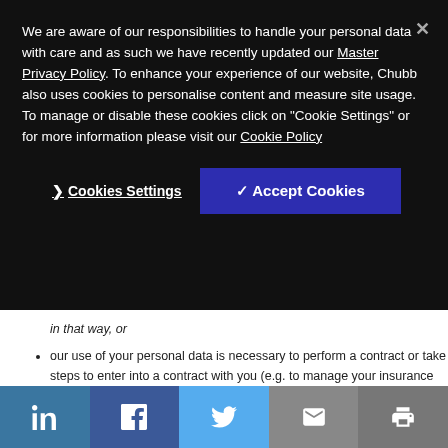We are aware of our responsibilities to handle your personal data with care and as such we have recently updated our Master Privacy Policy. To enhance your experience of our website, Chubb also uses cookies to personalise content and measure site usage. To manage or disable these cookies click on "Cookie Settings" or for more information please visit our Cookie Policy
❯ Cookies Settings
✓ Accept Cookies
in that way, or
our use of your personal data is necessary to perform a contract or take steps to enter into a contract with you (e.g. to manage your insurance policy), or
our use of your personal data is necessary to comply